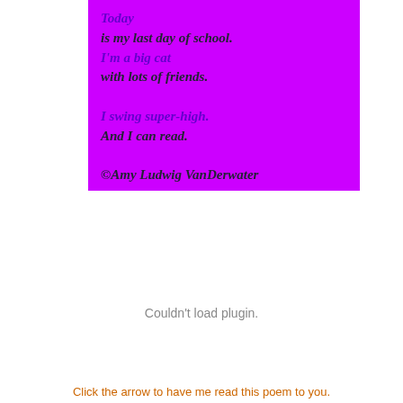Today
is my last day of school.
I'm a big cat
with lots of friends.

I swing super-high.
And I can read.

©Amy Ludwig VanDerwater
Couldn't load plugin.
Click the arrow to have me read this poem to you.